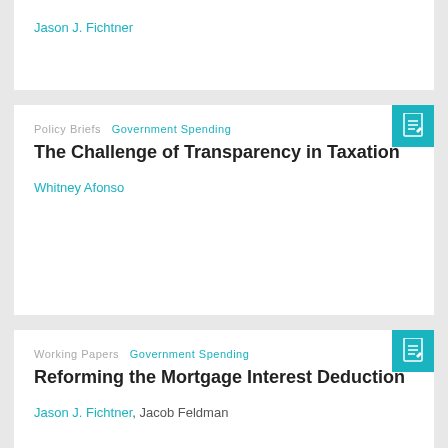Jason J. Fichtner
Policy Briefs  Government Spending
The Challenge of Transparency in Taxation
Whitney Afonso
Working Papers  Government Spending
Reforming the Mortgage Interest Deduction
Jason J. Fichtner, Jacob Feldman